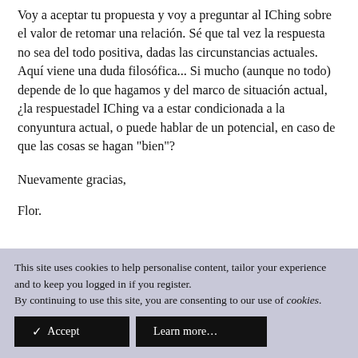Voy a aceptar tu propuesta y voy a preguntar al IChing sobre el valor de retomar una relación. Sé que tal vez la respuesta no sea del todo positiva, dadas las circunstancias actuales. Aquí viene una duda filosófica... Si mucho (aunque no todo) depende de lo que hagamos y del marco de situación actual, ¿la respuestadel IChing va a estar condicionada a la conyuntura actual, o puede hablar de un potencial, en caso de que las cosas se hagan "bien"?
Nuevamente gracias,
Flor.
This site uses cookies to help personalise content, tailor your experience and to keep you logged in if you register.
By continuing to use this site, you are consenting to our use of cookies.